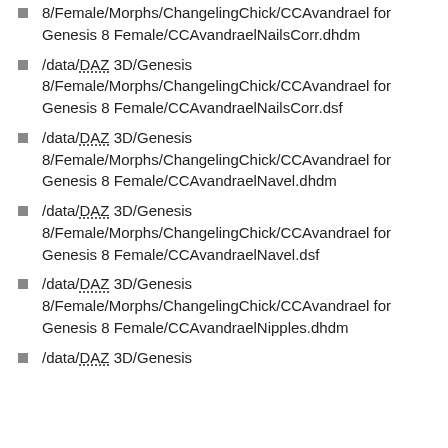8/Female/Morphs/ChangelingChick/CCAvandrael for Genesis 8 Female/CCAvandraelNailsCorr.dhdm
/data/DAZ 3D/Genesis 8/Female/Morphs/ChangelingChick/CCAvandrael for Genesis 8 Female/CCAvandraelNailsCorr.dsf
/data/DAZ 3D/Genesis 8/Female/Morphs/ChangelingChick/CCAvandrael for Genesis 8 Female/CCAvandraelNavel.dhdm
/data/DAZ 3D/Genesis 8/Female/Morphs/ChangelingChick/CCAvandrael for Genesis 8 Female/CCAvandraelNavel.dsf
/data/DAZ 3D/Genesis 8/Female/Morphs/ChangelingChick/CCAvandrael for Genesis 8 Female/CCAvandraelNipples.dhdm
/data/DAZ 3D/Genesis